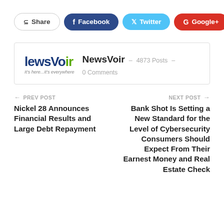[Figure (other): Social share buttons: Share, Facebook, Twitter, Google+]
[Figure (logo): NewsVoir logo with tagline 'It's here...It's everywhere']
NewsVoir – 4873 Posts – 0 Comments
← PREV POST
Nickel 28 Announces Financial Results and Large Debt Repayment
NEXT POST →
Bank Shot Is Setting a New Standard for the Level of Cybersecurity Consumers Should Expect From Their Earnest Money and Real Estate Check